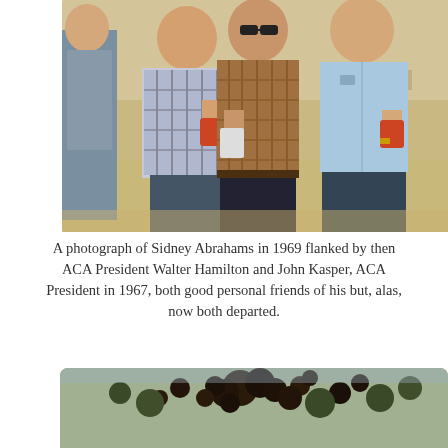[Figure (photo): Vintage color photograph of three men standing outdoors holding drinks. Left man wears a plaid short-sleeve shirt, center man wears sunglasses and a brown plaid shirt, right man wears a light blue short-sleeve shirt. Outdoor setting with grass and parked cars in background.]
A photograph of Sidney Abrahams in 1969 flanked by then ACA President Walter Hamilton and John Kasper, ACA President in 1967, both good personal friends of his but, alas, now both departed.
[Figure (photo): Vintage color photograph partially visible at bottom of page, showing people in an outdoor setting with dark foliage/balloons in the background.]